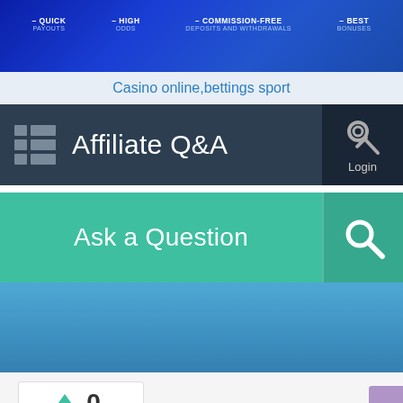[Figure (screenshot): Dark blue banner with feature highlights: QUICK PAYOUTS, HIGH ODDS, COMMISSION-FREE DEPOSITS AND WITHDRAWALS, BEST BONUSES]
Casino online,bettings sport
Affiliate Q&A
Login
Ask a Question
0 votes